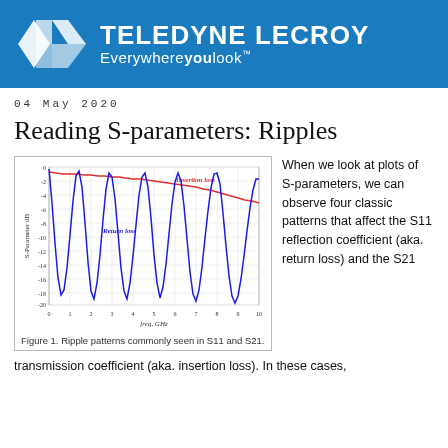[Figure (logo): Teledyne LeCroy company logo with blue background, white geometric diamond/arrow shapes on the left and white text 'TELEDYNE LECROY' with tagline 'Everywhere you look']
04 May 2020
Reading S-parameters: Ripples
[Figure (line-chart): Line chart showing two curves: a red 'Insertion loss' curve near 0 to -4 dB (relatively flat with slight ripple) and a blue 'Return loss' curve showing large oscillating ripples between approximately -2 dB and -20 dB across 0 to 10 GHz]
Figure 1. Ripple patterns commonly seen in S11 and S21.
When we look at plots of S-parameters, we can observe four classic patterns that affect the S11 reflection coefficient (aka. return loss) and the S21
transmission coefficient (aka. insertion loss). In these cases,